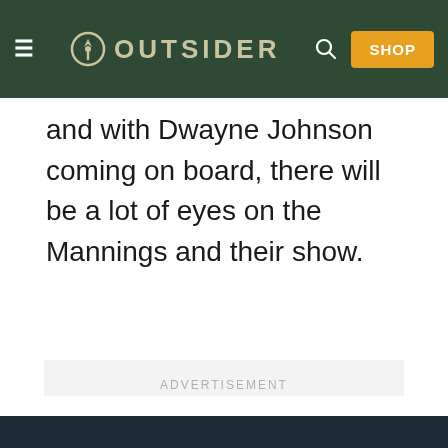OUTSIDER | SHOP
and with Dwayne Johnson coming on board, there will be a lot of eyes on the Mannings and their show.
[Figure (other): Advertisement placeholder box with 'ADVERTISEMENT' label in light gray text on a light gray background]